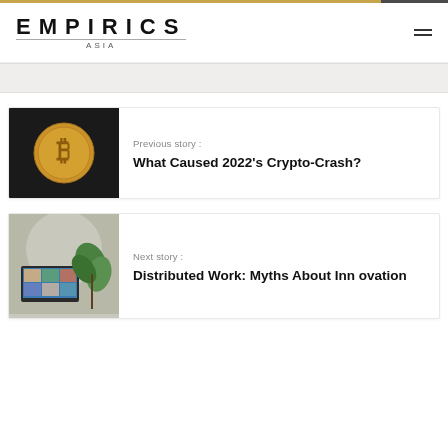EMPIRICS ASIA
[Figure (screenshot): Partial gray banner/content strip at top of article area]
[Figure (photo): Bitcoin gold coin on dark background with text: Previous story: What Caused 2022's Crypto-Crash?]
Previous story :
What Caused 2022's Crypto-Crash?
[Figure (photo): Laptop with remote meeting and green plant, with text: Next story: Distributed Work: Myths About Innovation]
Next story :
Distributed Work: Myths About Innovation